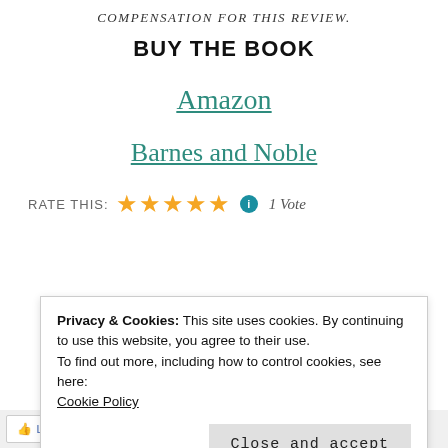COMPENSATION FOR THIS REVIEW.
BUY THE BOOK
Amazon
Barnes and Noble
RATE THIS: ★★★★★ ⓘ 1 Vote
Privacy & Cookies: This site uses cookies. By continuing to use this website, you agree to their use. To find out more, including how to control cookies, see here: Cookie Policy
Close and accept